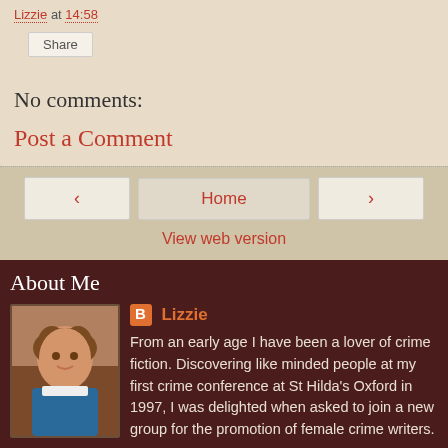Lizzie at 14:58
Share
No comments:
Post a Comment
< Home >
View web version
About Me
[Figure (photo): Profile photo of Lizzie, a woman with curly brown hair wearing a blue jacket]
Lizzie
From an early age I have been a lover of crime fiction. Discovering like minded people at my first crime conference at St Hilda's Oxford in 1997, I was delighted when asked to join a new group for the promotion of female crime writers. In 1998 I took over the running of the group, which I did for the next thirteen years. During that time I organised countless events promoting crime writers and in particu...